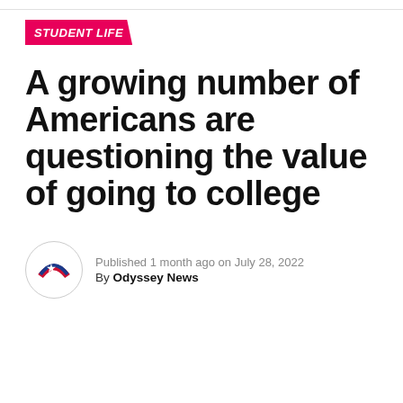STUDENT LIFE
A growing number of Americans are questioning the value of going to college
Published 1 month ago on July 28, 2022
By Odyssey News